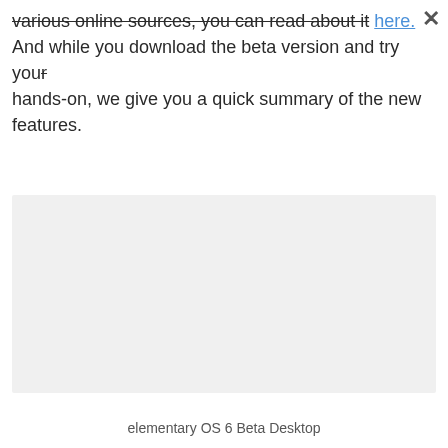various online sources, you can read about it here. And while you download the beta version and try your hands-on, we give you a quick summary of the new features.
[Figure (screenshot): Light grey placeholder rectangle representing the elementary OS 6 Beta Desktop screenshot]
elementary OS 6 Beta Desktop